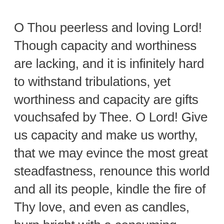O Thou peerless and loving Lord! Though capacity and worthiness are lacking, and it is infinitely hard to withstand tribulations, yet worthiness and capacity are gifts vouchsafed by Thee. O Lord! Give us capacity and make us worthy, that we may evince the most great steadfastness, renounce this world and all its people, kindle the fire of Thy love, and even as candles, burn bright with a consuming flame and shed abroad our radiance.